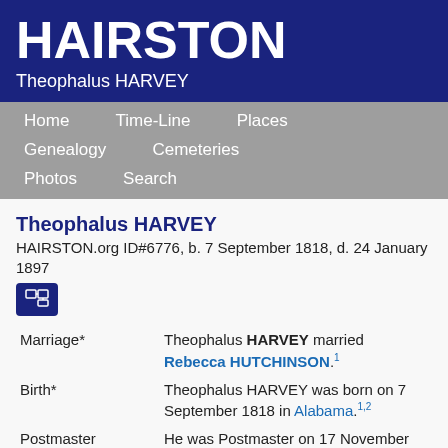HAIRSTON
Theophalus HARVEY
Home  Time-Line  Places  Genealogy  Cemeteries  Photos  Search
Theophalus HARVEY
HAIRSTON.org ID#6776, b. 7 September 1818, d. 24 January 1897
| Event | Description |
| --- | --- |
| Marriage* | Theophalus HARVEY married Rebecca HUTCHINSON.1 |
| Birth* | Theophalus HARVEY was born on 7 September 1818 in Alabama.1,2 |
| Postmaster | He was Postmaster on 17 November 1853 in Crawford, Lowndes County, Mississippi.3 |
| Postmaster* | He was Postmaster on 15 January |